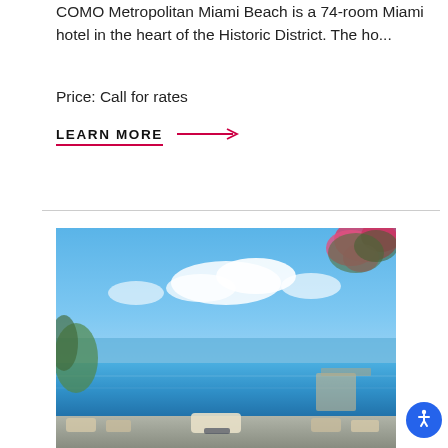COMO Metropolitan Miami Beach is a 74-room Miami hotel in the heart of the Historic District. The ho...
Price: Call for rates
LEARN MORE →
[Figure (photo): Rooftop infinity pool at COMO Metropolitan Miami Beach hotel with blue sky, white clouds, pink bougainvillea flowers in corner, and lounge chairs along pool deck overlooking ocean]